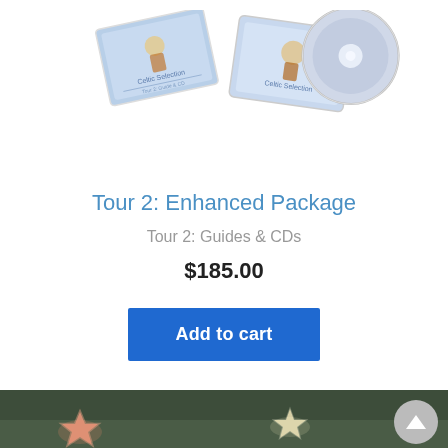[Figure (photo): Product image showing Christmas-themed greeting cards (blue with lantern/snowman design) and CDs with matching artwork, partially cropped at top]
Tour 2: Enhanced Package
Tour 2: Guides & CDs
$185.00
Add to cart
[Figure (photo): Bottom portion of page showing a dark green background with star decorations (glowing star ornaments) and a scroll-to-top circular button in the bottom right corner]